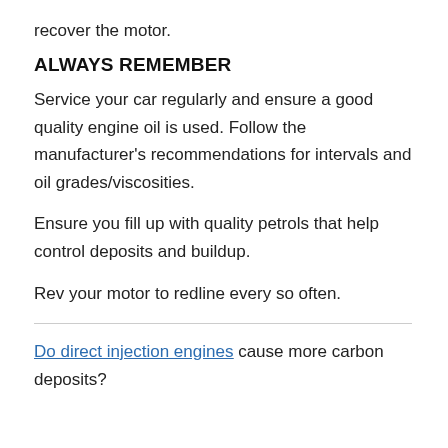recover the motor.
ALWAYS REMEMBER
Service your car regularly and ensure a good quality engine oil is used. Follow the manufacturer's recommendations for intervals and oil grades/viscosities.
Ensure you fill up with quality petrols that help control deposits and buildup.
Rev your motor to redline every so often.
Do direct injection engines cause more carbon deposits?